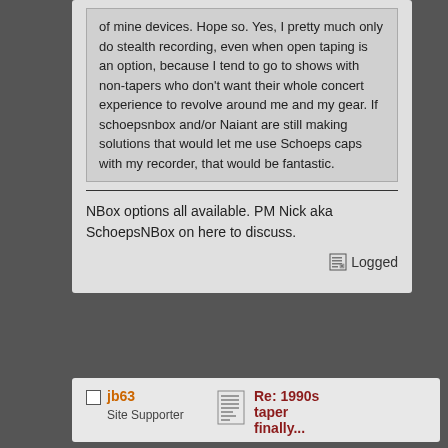of mine devices. Hope so. Yes, I pretty much only do stealth recording, even when open taping is an option, because I tend to go to shows with non-tapers who don't want their whole concert experience to revolve around me and my gear. If schoepsnbox and/or Naiant are still making solutions that would let me use Schoeps caps with my recorder, that would be fantastic.
NBox options all available. PM Nick aka SchoepsNBox on here to discuss.
Logged
jb63
Site Supporter
Re: 1990s taper finally...